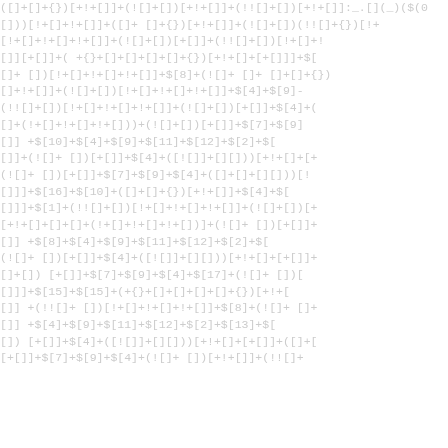Obfuscated JavaScript/code content showing bracket expressions with $[n] array references and boolean/arithmetic operators. The text appears as a continuation of a longer code block, visible only on the right half of the page.